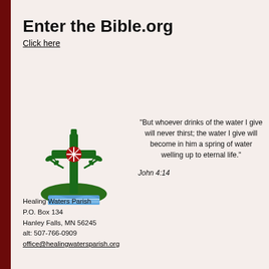Enter the Bible.org
Click here
[Figure (logo): Healing Waters Parish logo: a green Celtic cross with a red circular ornament in the center, green leafy branches on each side, and blue waves at the base on a green mound]
"But whoever drinks of the water I give will never thirst; the water I give will become in him a spring of water welling up to eternal life."
John 4:14
Healing Waters Parish
P.O. Box 134
Hanley Falls, MN 56245
alt: 507-766-0909
office@healingwatersparish.org